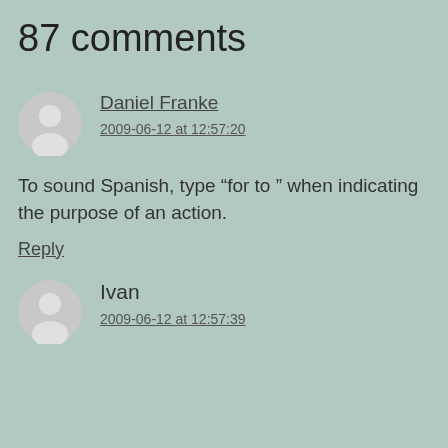87 comments
Daniel Franke
2009-06-12 at 12:57:20
To sound Spanish, type “for to ” when indicating the purpose of an action.
Reply
Ivan
2009-06-12 at 12:57:39